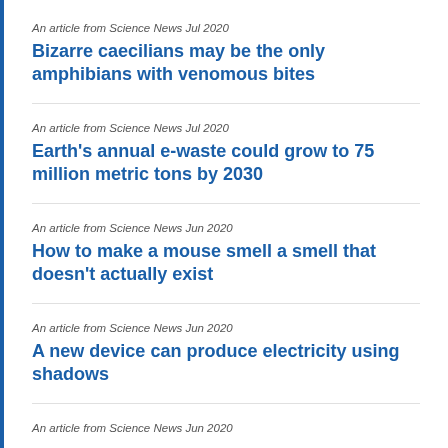An article from Science News Jul 2020
Bizarre caecilians may be the only amphibians with venomous bites
An article from Science News Jul 2020
Earth's annual e-waste could grow to 75 million metric tons by 2030
An article from Science News Jun 2020
How to make a mouse smell a smell that doesn't actually exist
An article from Science News Jun 2020
A new device can produce electricity using shadows
An article from Science News Jun 2020